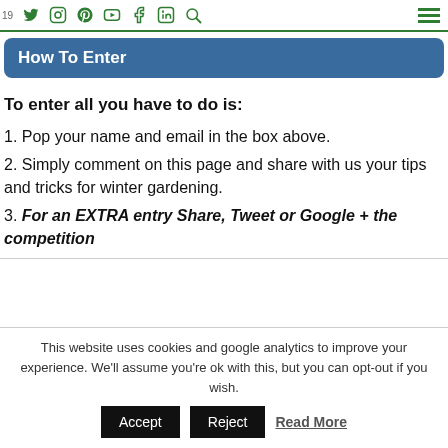Social media navigation bar with icons: Twitter, Instagram, Pinterest, YouTube, Facebook, LinkedIn, Search, and hamburger menu
How To Enter
To enter all you have to do is:
1. Pop your name and email in the box above.
2. Simply comment on this page and share with us your tips and tricks for winter gardening.
3. For an EXTRA entry Share, Tweet or Google + the competition
This website uses cookies and google analytics to improve your experience. We'll assume you're ok with this, but you can opt-out if you wish. Accept Reject Read More